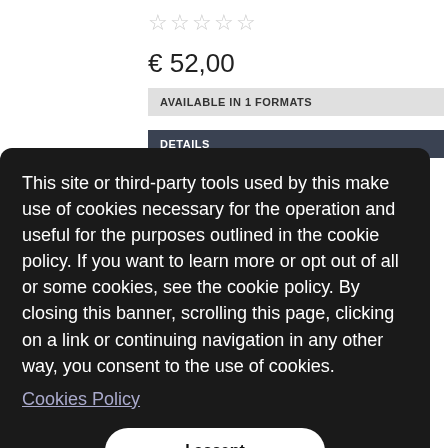☆☆☆☆☆
€ 52,00
AVAILABLE IN 1 FORMATS
DETAILS
This site or third-party tools used by this make use of cookies necessary for the operation and useful for the purposes outlined in the cookie policy. If you want to learn more or opt out of all or some cookies, see the cookie policy. By closing this banner, scrolling this page, clicking on a link or continuing navigation in any other way, you consent to the use of cookies.
Cookies Policy
I accept
ARTISTIQUE CONCEALER BRUSH GRANDE